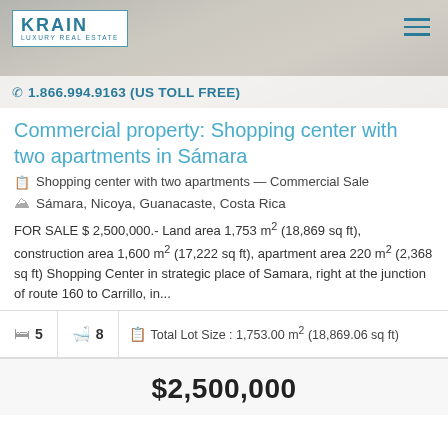[Figure (photo): Krain Luxury Real Estate header banner with background photo of street/property scene, logo top-left, hamburger menu top-right, phone number bar at bottom]
1.866.994.9163 (US TOLL FREE)
Commercial property: Shopping center with two apartments in Sámara
Shopping center with two apartments — Commercial Sale
Sámara, Nicoya, Guanacaste, Costa Rica
FOR SALE $ 2,500,000.- Land area 1,753 m² (18,869 sq ft), construction area 1,600 m² (17,222 sq ft), apartment area 220 m² (2,368 sq ft) Shopping Center in strategic place of Samara, right at the junction of route 160 to Carrillo, in...
| Beds | Baths | Total Lot Size |
| --- | --- | --- |
| 5 | 8 | Total Lot Size : 1,753.00 m² (18,869.06 sq ft) |
$2,500,000